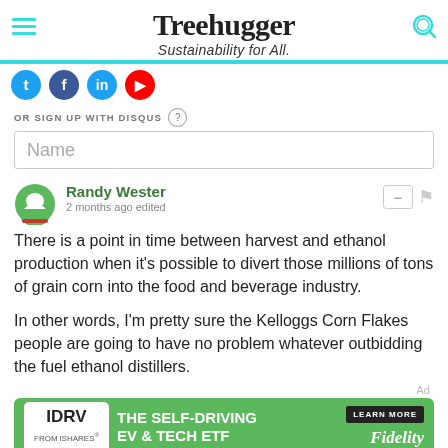Treehugger
Sustainability for All.
OR SIGN UP WITH DISQUS
Name
Randy Wester
2 months ago edited

There is a point in time between harvest and ethanol production when it's possible to divert those millions of tons of grain corn into the food and beverage industry.

In other words, I'm pretty sure the Kelloggs Corn Flakes people are going to have no problem whatever outbidding the fuel ethanol distillers.
[Figure (screenshot): Advertisement banner for IDRV from iShares - The Self-Driving EV & Tech ETF, Fidelity. Green background with white IDRV logo, Learn More button.]